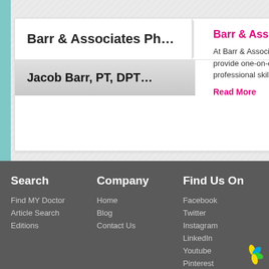Barr & Associates Ph...
Jacob Barr, PT, DPT...
Barr & Associates Phys...
At Barr & Associates Physica... provide one-on-one care to a... professional skills that will he...
Read More
Search
Find MY Doctor
Article Search
Editions
Company
Home
Blog
Contact Us
Find Us On
Facebook
Twitter
Instagram
LinkedIn
Youtube
Pinterest